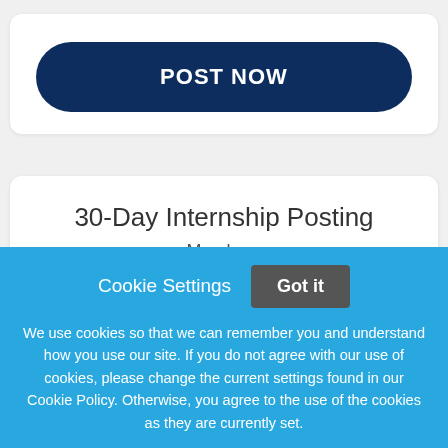[Figure (screenshot): A dark navy blue rounded button labeled POST NOW in white uppercase bold text]
30-Day Internship Posting
Members
Cookie Settings
[Figure (screenshot): A gray button labeled Got it]
We use cookies so that we can remember you and understand how you use our site. If you do not agree with our use of cookies, please change the current settings found in our Cookie Policy. Otherwise, you agree to the use of the cookies as they are currently set.